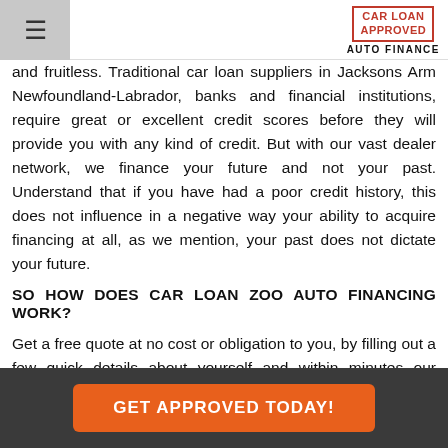CAR LOAN APPROVED | AUTO FINANCE
and fruitless. Traditional car loan suppliers in Jacksons Arm Newfoundland-Labrador, banks and financial institutions, require great or excellent credit scores before they will provide you with any kind of credit. But with our vast dealer network, we finance your future and not your past. Understand that if you have had a poor credit history, this does not influence in a negative way your ability to acquire financing at all, as we mention, your past does not dictate your future.
SO HOW DOES CAR LOAN ZOO AUTO FINANCING WORK?
Get a free quote at no cost or obligation to you, by filling out a few quick details about yourself and within minutes our lending team will get right to work. We specialize in Jacksons Arm car loans and bad credit financing. In a nutshell, we are a car loans 411 help line connecting
GET APPROVED TODAY!